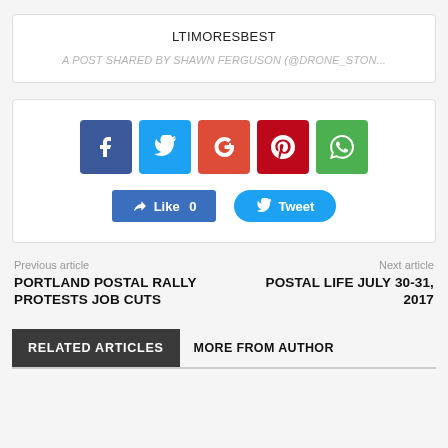LTIMORESBEST
A POST SHARED BY SHAWN FERGUSON (@DRONE_STON...
[Figure (infographic): Social sharing buttons: Facebook, Twitter, Google+, Pinterest, WhatsApp icons, plus Like 0 and Tweet buttons]
Previous article
PORTLAND POSTAL RALLY PROTESTS JOB CUTS
Next article
POSTAL LIFE JULY 30-31, 2017
RELATED ARTICLES
MORE FROM AUTHOR